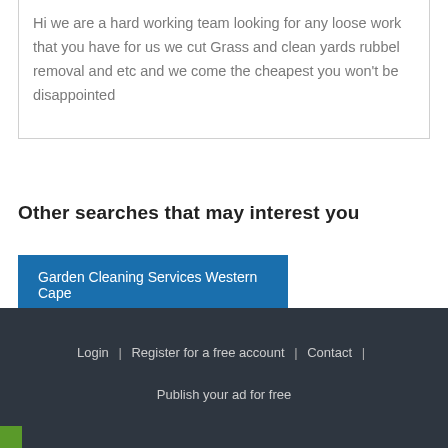Hi we are a hard working team looking for any loose work that you have for us we cut Grass and clean yards rubbel removal and etc and we come the cheapest you won't be disappointed
Other searches that may interest you
Garden Cleaning Services Western Cape
1  2  >
Login | Register for a free account | Contact | Publish your ad for free